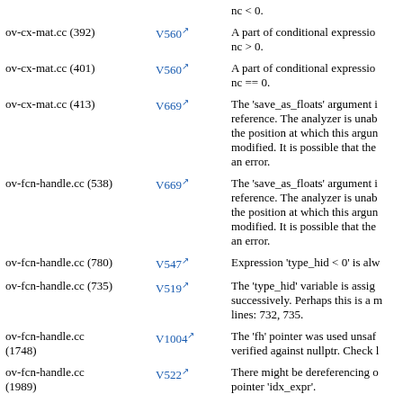| File | Code | Description |
| --- | --- | --- |
| ov-cx-mat.cc (392) | V560 | A part of conditional expression nc > 0. |
| ov-cx-mat.cc (401) | V560 | A part of conditional expression nc == 0. |
| ov-cx-mat.cc (413) | V669 | The 'save_as_floats' argument is passed by reference. The analyzer is unable to determine the position at which this argument is being modified. It is possible that the function contains an error. |
| ov-fcn-handle.cc (538) | V669 | The 'save_as_floats' argument is passed by reference. The analyzer is unable to determine the position at which this argument is being modified. It is possible that the function contains an error. |
| ov-fcn-handle.cc (780) | V547 | Expression 'type_hid < 0' is always false. |
| ov-fcn-handle.cc (735) | V519 | The 'type_hid' variable is assigned values successively. Perhaps this is a mistake. Check lines: 732, 735. |
| ov-fcn-handle.cc (1748) | V1004 | The 'fh' pointer was used unsafely after it was verified against nullptr. Check lines... |
| ov-fcn-handle.cc (1989) | V522 | There might be dereferencing of a potential null pointer 'idx_expr'. |
| ov-fcn-handle.cc (2015) | V522 | There might be dereferencing of a... |